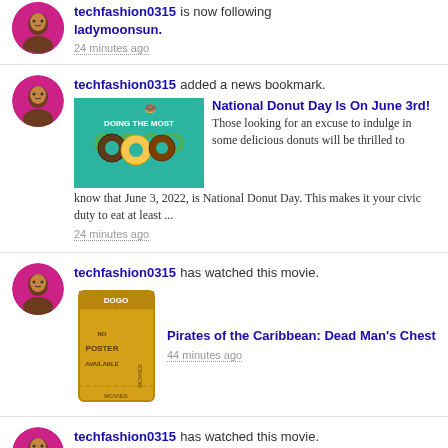techfashion0315 is now following ladymoonsun. 24 minutes ago
techfashion0315 added a news bookmark.
[Figure (photo): Donut Day promotional image with colorful donuts on teal background saying DOING THE MOST GOOD]
National Donut Day Is On June 3rd! Those looking for an excuse to indulge in some delicious donuts will be thrilled to know that June 3, 2022, is National Donut Day. This makes it your civic duty to eat at least ...
24 minutes ago
techfashion0315 has watched this movie.
[Figure (photo): Movie ticket placeholder image with DOGO NO POSTER AVAILABLE MOVIES text]
Pirates of the Caribbean: Dead Man's Chest 44 minutes ago
techfashion0315 has watched this movie.
[Figure (photo): Movie ticket placeholder image with DOGO NO POSTER AVAILABLE MOVIES text]
Downton Abbey: A New Era About 3 hours ago